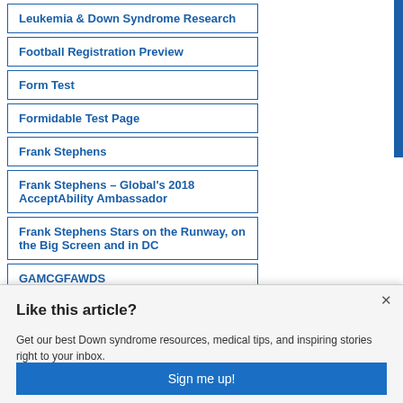Leukemia & Down Syndrome Research
Football Registration Preview
Form Test
Formidable Test Page
Frank Stephens
Frank Stephens – Global's 2018 AcceptAbility Ambassador
Frank Stephens Stars on the Runway, on the Big Screen and in DC
GAMCGFAWDS
GLOBAL & Denver Health Adult
Like this article?
Get our best Down syndrome resources, medical tips, and inspiring stories right to your inbox.
Sign me up!